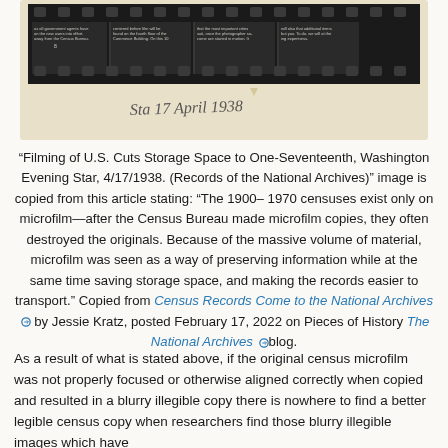[Figure (photo): A photograph of a microfilm strip showing columns of census-related newspaper text on a dark background, with a handwritten label 'Sta 17 April 1938' visible below the film strip.]
“Filming of U.S. Cuts Storage Space to One-Seventeenth, Washington Evening Star, 4/17/1938. (Records of the National Archives)” image is copied from this article stating: “The 1900–1970 censuses exist only on microfilm—after the Census Bureau made microfilm copies, they often destroyed the originals. Because of the massive volume of material, microfilm was seen as a way of preserving information while at the same time saving storage space, and making the records easier to transport.” Copied from Census Records Come to the National Archives by Jessie Kratz, posted February 17, 2022 on Pieces of History The National Archives blog.
As a result of what is stated above, if the original census microfilm was not properly focused or otherwise aligned correctly when copied and resulted in a blurry illegible copy there is nowhere to find a better legible census copy when researchers find those blurry illegible images which have